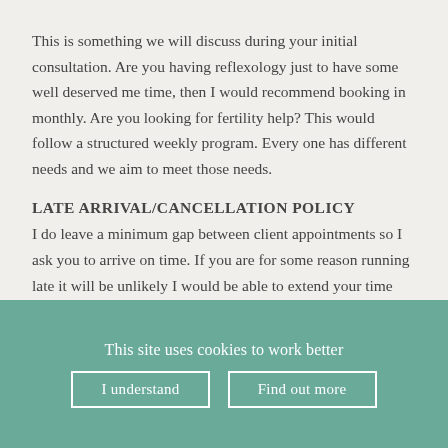This is something we will discuss during your initial consultation. Are you having reflexology just to have some well deserved me time, then I would recommend booking in monthly. Are you looking for fertility help? This would follow a structured weekly program. Every one has different needs and we aim to meet those needs.
LATE ARRIVAL/CANCELLATION POLICY
I do leave a minimum gap between client appointments so I ask you to arrive on time. If you are for some reason running late it will be unlikely I would be able to extend your time slot.
In case of cancelling your appointment, I reserve the...
This site uses cookies to work better
I understand
Find out more